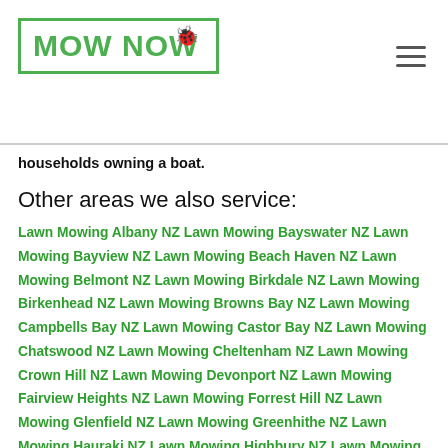MOW NOW
households owning a boat.
Other areas we also service:
Lawn Mowing Albany NZLawn Mowing Bayswater NZLawn Mowing Bayview NZLawn Mowing Beach Haven NZLawn Mowing Belmont NZLawn Mowing Birkdale NZLawn Mowing Birkenhead NZLawn Mowing Browns Bay NZLawn Mowing Campbells Bay NZLawn Mowing Castor Bay NZLawn Mowing Chatswood NZLawn Mowing Cheltenham NZLawn Mowing Crown Hill NZLawn Mowing Devonport NZLawn Mowing Fairview Heights NZLawn Mowing Forrest Hill NZLawn Mowing Glenfield NZLawn Mowing Greenhithe NZLawn Mowing Hauraki NZLawn Mowing Highbury NZLawn Mowing Hillcrest NZLawn Mowing Long Bay NZLawn Mowing Mairangi